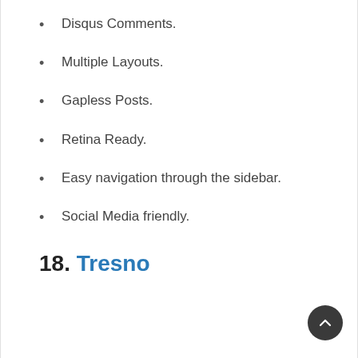Disqus Comments.
Multiple Layouts.
Gapless Posts.
Retina Ready.
Easy navigation through the sidebar.
Social Media friendly.
18. Tresno